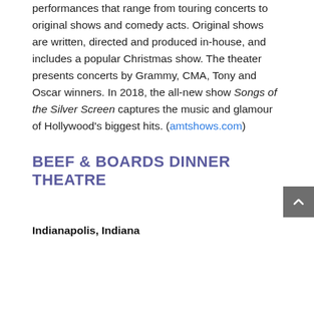performances that range from touring concerts to original shows and comedy acts. Original shows are written, directed and produced in-house, and includes a popular Christmas show. The theater presents concerts by Grammy, CMA, Tony and Oscar winners. In 2018, the all-new show Songs of the Silver Screen captures the music and glamour of Hollywood's biggest hits. (amtshows.com)
BEEF & BOARDS DINNER THEATRE
Indianapolis, Indiana